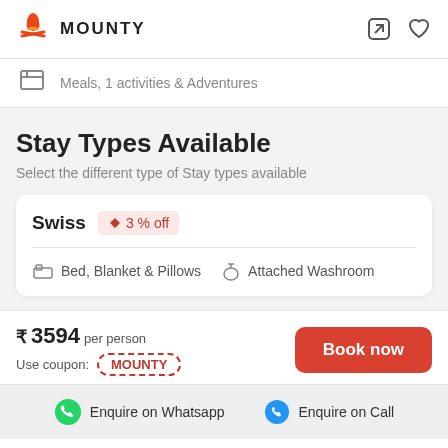MOUNTY
Meals, 1 activities & Adventures
Stay Types Available
Select the different type of Stay types available
Swiss  3 % off
Bed, Blanket & Pillows  Attached Washroom
₹ 3594 per person
Use coupon: MOUNTY
Book now
Enquire on Whatsapp   Enquire on Call